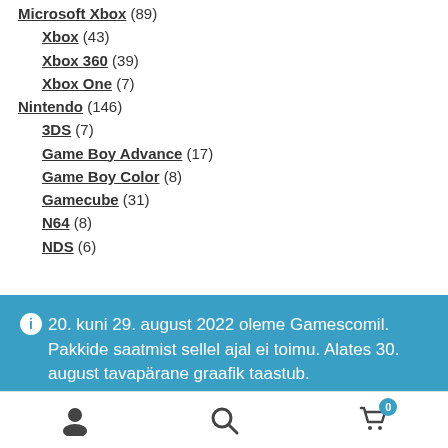Microsoft Xbox (89)
Xbox (43)
Xbox 360 (39)
Xbox One (7)
Nintendo (146)
3DS (7)
Game Boy Advance (17)
Game Boy Color (8)
Gamecube (31)
N64 (8)
NDS (6)
20. kuni 29. august 2022 oleme Gamescomil. Pakkide saatmist sellel ajal ei toimu. Alates 30. august tavapärane graafik taastub. Peida
User icon | Search icon | Cart 0